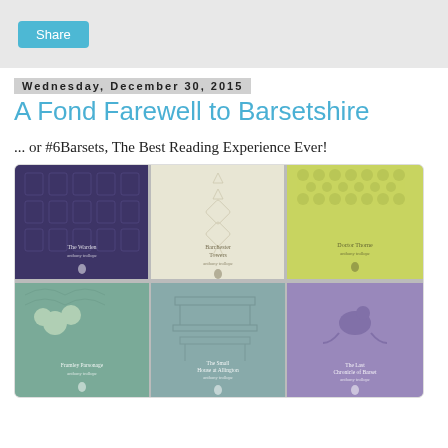Share
Wednesday, December 30, 2015
A Fond Farewell to Barsetshire
... or #6Barsets, The Best Reading Experience Ever!
[Figure (photo): Six Penguin Classics book covers of the Barsetshire Chronicles by Anthony Trollope arranged in a 3x2 grid. Top row: The Warden (purple/violet), Barchester Towers (cream/ivory), Doctor Thorne (yellow-green). Bottom row: Framley Parsonage (teal/sage), The Small House at Allington (sage green), The Last Chronicle of Barset (lavender/purple).]